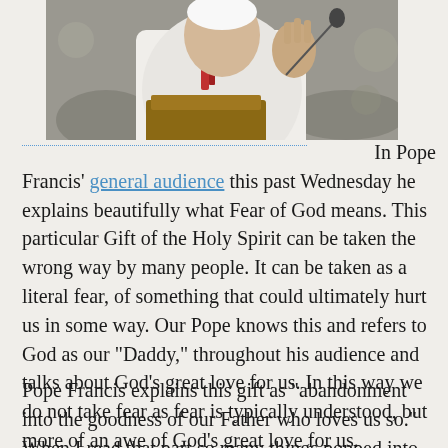[Figure (photo): Photo of Pope Francis in white vestments at a podium, gesturing with his right hand raised, with a microphone visible]
In Pope Francis' general audience this past Wednesday he explains beautifully what Fear of God means. This particular Gift of the Holy Spirit can be taken the wrong way by many people. It can be taken as a literal fear, of something that could ultimately hurt us in some way. Our Pope knows this and refers to God as our “Daddy,” throughout his audience and talks about God’s great love for us. In this way we do not take fear as fear is typically understood, but more of an awe of God’s great love for us.
Pope Francis explains this gift as “abandonment into the goodness of our Father who loves us so.” When I read that part so many things popped into my head —